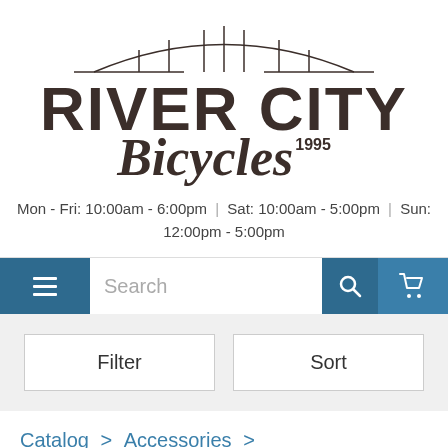[Figure (logo): River City Bicycles logo with bridge arch illustration above the text, established 1995]
Mon - Fri: 10:00am - 6:00pm | Sat: 10:00am - 5:00pm | Sun: 12:00pm - 5:00pm
Search
Filter
Sort
Catalog > Accessories > Tools/Maintenance